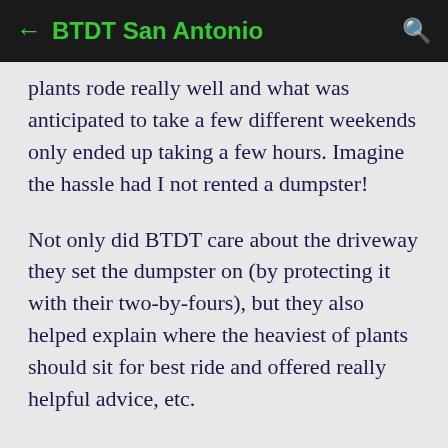← BTDT San Antonio 🔍
plants rode really well and what was anticipated to take a few different weekends only ended up taking a few hours. Imagine the hassle had I not rented a dumpster!
Not only did BTDT care about the driveway they set the dumpster on (by protecting it with their two-by-fours), but they also helped explain where the heaviest of plants should sit for best ride and offered really helpful advice, etc.
These guys really do know what they're doing